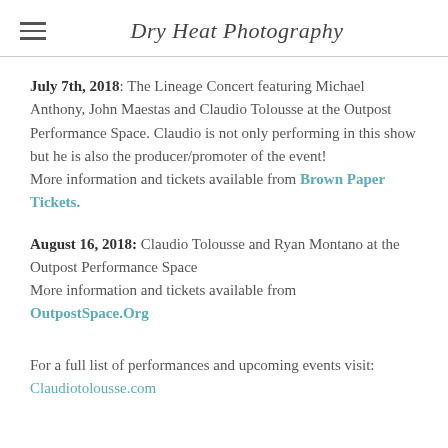Dry Heat Photography
July 7th, 2018: The Lineage Concert featuring Michael Anthony, John Maestas and Claudio Tolousse at the Outpost Performance Space. Claudio is not only performing in this show but he is also the producer/promoter of the event!
More information and tickets available from Brown Paper Tickets.
August 16, 2018: Claudio Tolousse and Ryan Montano at the Outpost Performance Space
More information and tickets available from OutpostSpace.Org
For a full list of performances and upcoming events visit:
Claudiotolousse.com